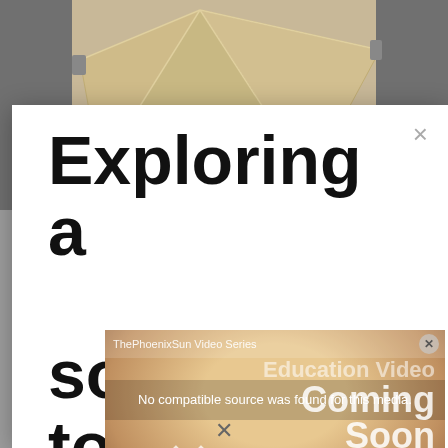[Figure (photo): A shade sail canopy installed over a narrow outdoor space, viewed from below looking up, with beige/tan triangular fabric panels stretched between walls.]
[Figure (screenshot): A modal dialog overlay on a website showing the heading 'Exploring a solution to go afford?' in large bold black text on white background, with an X close button in the top right. A video player overlay is visible within/over the modal showing 'ThePhoenixSun Video Series' header, 'No compatible source was found for this media.' error message, and a 'Coming Soon Education Video' graphic with a person's face, X icon, and 'William | ThePhoenixSun.Com' branding.]
Exploring a solution to go afford?